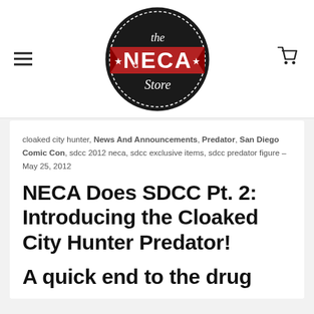[Figure (logo): The NECA Store logo — black circular badge with 'the' in script at top, a red banner with 'NECA' in white bold letters with stars, and 'Store' in script below]
cloaked city hunter, News And Announcements, Predator, San Diego Comic Con, sdcc 2012 neca, sdcc exclusive items, sdcc predator figure – May 25, 2012
NECA Does SDCC Pt. 2: Introducing the Cloaked City Hunter Predator!
A quick end to the drug